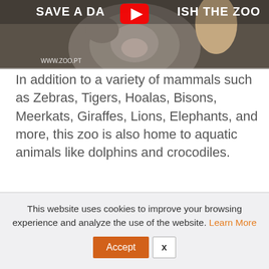[Figure (photo): A screenshot of a zoo website showing a video thumbnail. A koala is visible in the center of the image. Text overlay reads 'SAVE A DA... ISH THE ZOO' and 'WWW.ZOO.PT'. A YouTube play button icon is partially visible.]
In addition to a variety of mammals such as Zebras, Tigers, Hoalas, Bisons, Meerkats, Giraffes, Lions, Elephants, and more, this zoo is also home to aquatic animals like dolphins and crocodiles.
This website uses cookies to improve your browsing experience and analyze the use of the website. Learn More